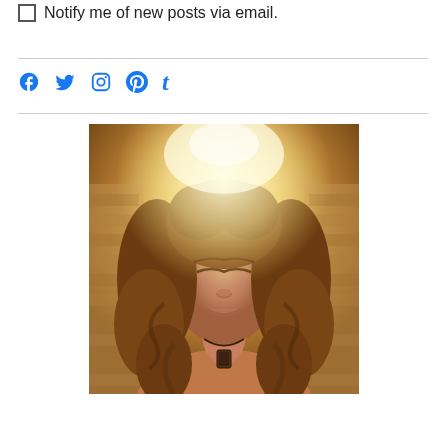Notify me of new posts via email.
[Figure (photo): Portrait photo of a woman with long curly brown hair, eyes closed, wearing a necklace with a pendant, warm golden/amber toned lighting with bright haze at top, brick wall background]
[Figure (infographic): Social media icons row: Facebook, Twitter, Instagram, Pinterest, Tumblr — all in blue]